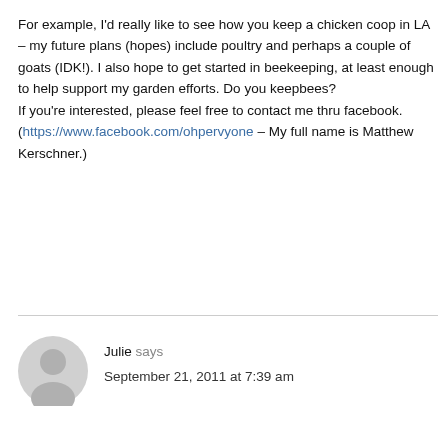For example, I'd really like to see how you keep a chicken coop in LA – my future plans (hopes) include poultry and perhaps a couple of goats (IDK!). I also hope to get started in beekeeping, at least enough to help support my garden efforts. Do you keepbees?
If you're interested, please feel free to contact me thru facebook.
(https://www.facebook.com/ohpervyone – My full name is Matthew Kerschner.)
Julie says
September 21, 2011 at 7:39 am